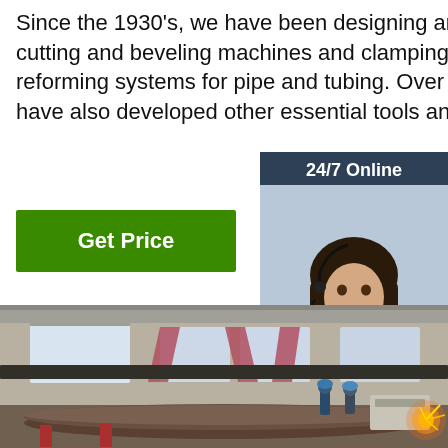Since the 1930's, we have been designing and building cutting and beveling machines and clamping, aligning, and reforming systems for pipe and tubing. Over the years, we have also developed other essential tools and equi...
[Figure (other): Sidebar widget with customer service representative photo, '24/7 Online' header, 'Click here for free chat!' text, and 'QUOTATION' button]
[Figure (photo): Industrial factory interior showing large pipes being cut/welded with workers, overhead cranes, windows with curtains, and bright sparks from cutting equipment]